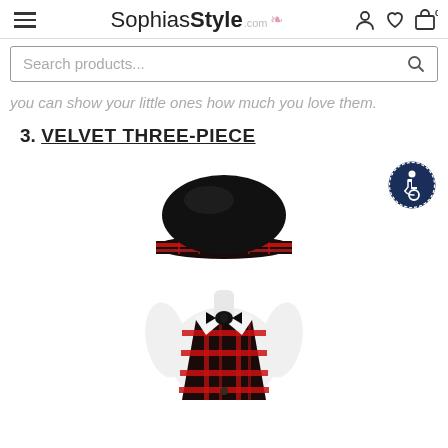SophiasStyle.com — navigation header with hamburger menu, logo, user/wishlist/cart icons
Search products...
you can show your little ones how much you love them.
3. VELVET THREE-PIECE
[Figure (photo): Child mannequin wearing a velvet three-piece outfit: black velvet newsboy cap with red and black plaid brim band, white shirt, black velvet bow tie, and red and black plaid vest.]